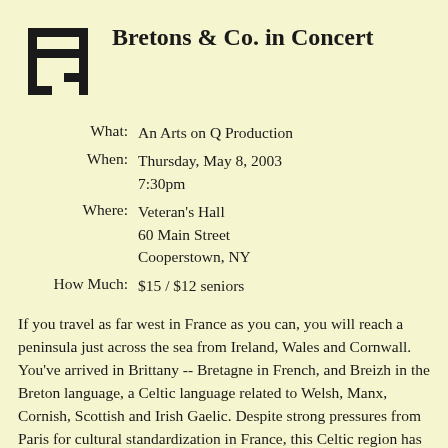Bretons & Co. in Concert
What: An Arts on Q Production
When: Thursday, May 8, 2003 7:30pm
Where: Veteran's Hall 60 Main Street Cooperstown, NY
How Much: $15 / $12 seniors
If you travel as far west in France as you can, you will reach a peninsula just across the sea from Ireland, Wales and Cornwall. You've arrived in Brittany -- Bretagne in French, and Breizh in the Breton language, a Celtic language related to Welsh, Manx, Cornish, Scottish and Irish Gaelic. Despite strong pressures from Paris for cultural standardization in France, this Celtic region has never abandoned its incredibly rich tradition while adapting all the tools of a modern technology.
The music of Brittany is unique, and features unusual